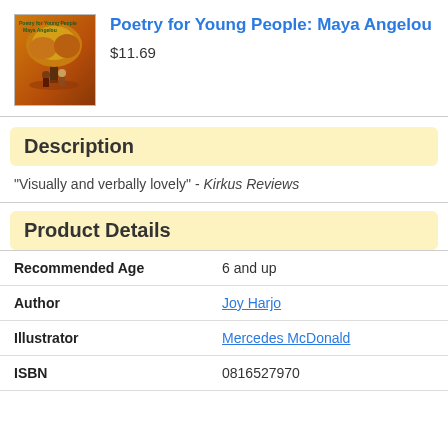[Figure (illustration): Book cover of Poetry for Young People: Maya Angelou, showing a warm-toned illustration of figures under a large tree]
Poetry for Young People: Maya Angelou
$11.69
Description
"Visually and verbally lovely" - Kirkus Reviews
Product Details
|  |  |
| --- | --- |
| Recommended Age | 6 and up |
| Author | Joy Harjo |
| Illustrator | Mercedes McDonald |
| ISBN | 0816527970 |